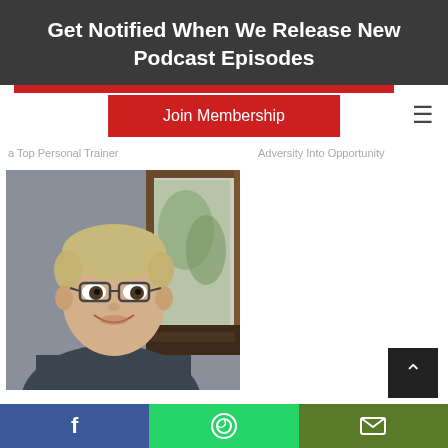Get Notified When We Release New Podcast Episodes
Join Membership
a Top Personal Trainer
Adversity Into Opportunity
[Figure (photo): Smiling middle-aged man with glasses and short blond hair, wearing a dark shirt, seated in front of a window with trees outside.]
162 – Bill DeSimone – Injury Rehabilitation, Functional Training, and How To Train